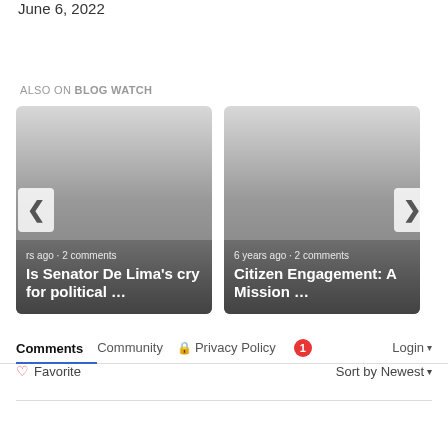June 6, 2022
ALSO ON BLOG WATCH
[Figure (screenshot): Two related article cards in a carousel: 1) 'Is Senator De Lima's cry for political ...' with '...rs ago • 2 comments', 2) 'Citizen Engagement: A Mission ...' with '6 years ago • 2 comments'. Navigation arrows on left and right.]
Comments  Community  Privacy Policy  1  Login
Favorite   Sort by Newest